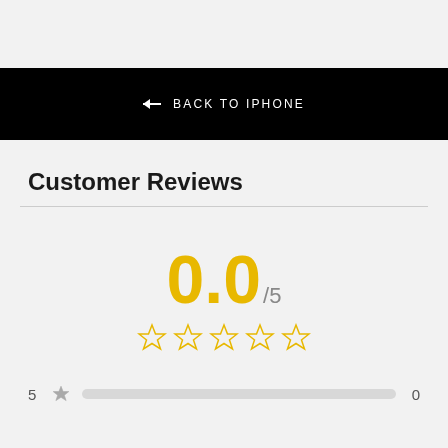← BACK TO IPHONE
Customer Reviews
[Figure (infographic): Rating display showing 0.0 out of 5 with 5 empty gold stars]
5 ★ 0